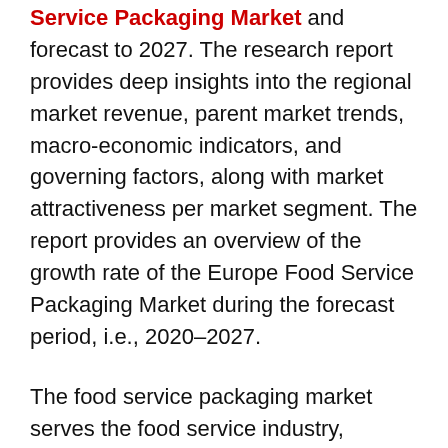Service Packaging Market and forecast to 2027. The research report provides deep insights into the regional market revenue, parent market trends, macro-economic indicators, and governing factors, along with market attractiveness per market segment. The report provides an overview of the growth rate of the Europe Food Service Packaging Market during the forecast period, i.e., 2020–2027.
The food service packaging market serves the food service industry, consisting of offline as well as online food service stores that are serving a huge number of people in the Europe region. Consumers in this era are adopting packaged food items, including RTE and RTC food products, confectionaries, and many more. Most of the consumers are adopting in...